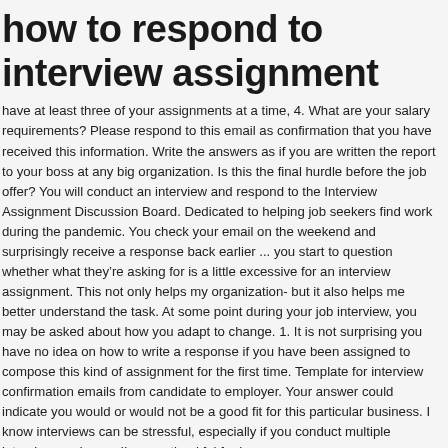how to respond to interview assignment
have at least three of your assignments at a time, 4. What are your salary requirements? Please respond to this email as confirmation that you have received this information. Write the answers as if you are written the report to your boss at any big organization. Is this the final hurdle before the job offer? You will conduct an interview and respond to the Interview Assignment Discussion Board. Dedicated to helping job seekers find work during the pandemic. You check your email on the weekend and surprisingly receive a response back earlier ... you start to question whether what they're asking for is a little excessive for an interview assignment. This not only helps my organization- but it also helps me better understand the task. At some point during your job interview, you may be asked about how you adapt to change. 1. It is not surprising you have no idea on how to write a response if you have been assigned to compose this kind of assignment for the first time. Template for interview confirmation emails from candidate to employer. Your answer could indicate you would or would not be a good fit for this particular business. I know interviews can be stressful, especially if you conduct multiple interviews a day, so I'm very thankful for how